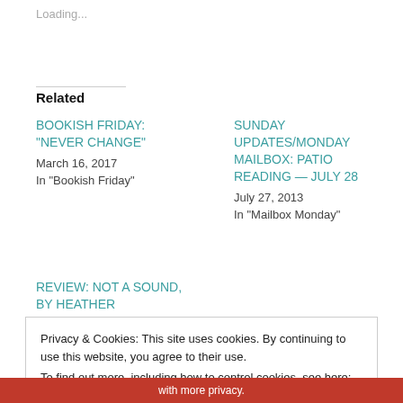Loading...
Related
BOOKISH FRIDAY: “NEVER CHANGE”
March 16, 2017
In "Bookish Friday"
SUNDAY UPDATES/MONDAY MAILBOX: PATIO READING — JULY 28
July 27, 2013
In "Mailbox Monday"
REVIEW: NOT A SOUND, BY HEATHER
Privacy & Cookies: This site uses cookies. By continuing to use this website, you agree to their use.
To find out more, including how to control cookies, see here:
Cookie Policy
Close and accept
with more privacy.